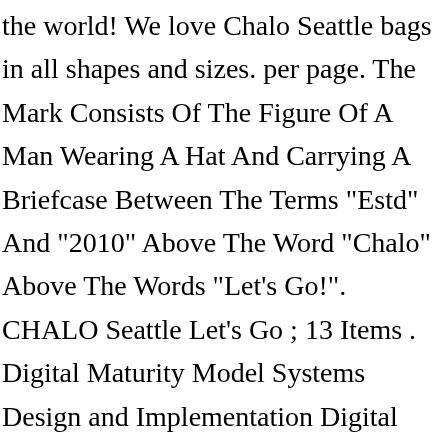the world! We love Chalo Seattle bags in all shapes and sizes. per page. The Mark Consists Of The Figure Of A Man Wearing A Hat And Carrying A Briefcase Between The Terms "Estd" And "2010" Above The Word "Chalo" Above The Words "Let's Go!". CHALO Seattle Let's Go ; 13 Items . Digital Maturity Model Systems Design and Implementation Digital Marketing. per page. Designed with travel in mind, Chalo Pouches make the coolest accessories to any lifestyle. Customer Acquisition and Retention. Souvenir